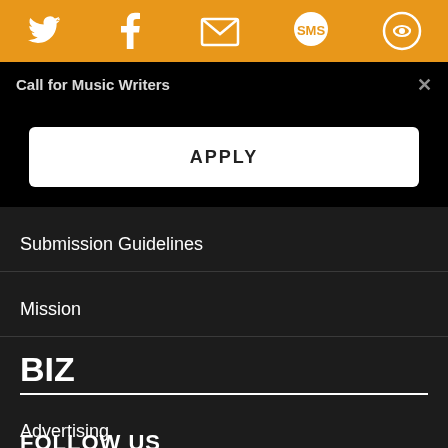[Figure (infographic): Orange top navigation bar with social media icons: Twitter bird, Facebook f, envelope/email, SMS speech bubble, and a circle with person icon]
Call for Music Writers
APPLY
Submission Guidelines
Mission
BIZ
Advertising
Privacy Policy
FOLLOW US